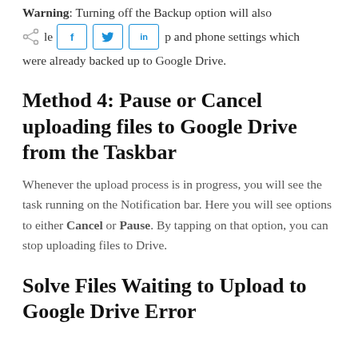Warning: Turning off the Backup option will also delete app and phone settings which were already backed up to Google Drive.
[Figure (infographic): Social share buttons row with share icon, Facebook (f), Twitter (bird), and LinkedIn (in) buttons]
Method 4: Pause or Cancel uploading files to Google Drive from the Taskbar
Whenever the upload process is in progress, you will see the task running on the Notification bar. Here you will see options to either Cancel or Pause. By tapping on that option, you can stop uploading files to Drive.
Solve Files Waiting to Upload to Google Drive Error